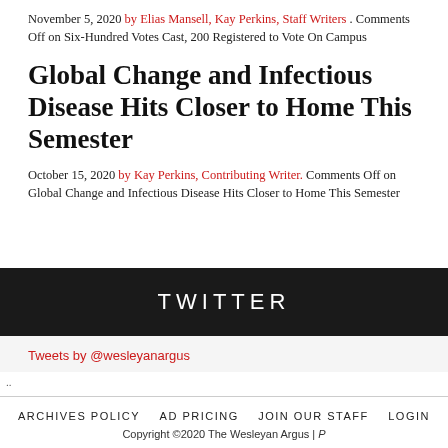November 5, 2020 by Elias Mansell, Kay Perkins, Staff Writers . Comments Off on Six-Hundred Votes Cast, 200 Registered to Vote On Campus
Global Change and Infectious Disease Hits Closer to Home This Semester
October 15, 2020 by Kay Perkins, Contributing Writer. Comments Off on Global Change and Infectious Disease Hits Closer to Home This Semester
[Figure (other): Black banner with TWITTER text in white spaced letters]
Tweets by @wesleyanargus
ARCHIVES POLICY   AD PRICING   JOIN OUR STAFF   LOGIN
Copyright ©2020 The Wesleyan Argus | P